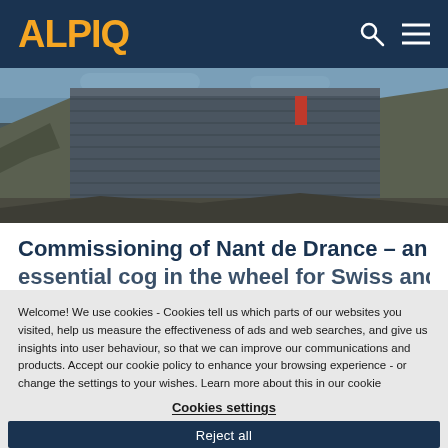ALPIQ
[Figure (photo): Aerial/close-up photograph of the Nant de Drance dam construction site showing large concrete dam wall with rocky mountain terrain and construction equipment]
Commissioning of Nant de Drance – an essential cog in the wheel for Swiss and
Welcome! We use cookies - Cookies tell us which parts of our websites you visited, help us measure the effectiveness of ads and web searches, and give us insights into user behaviour, so that we can improve our communications and products. Accept our cookie policy to enhance your browsing experience - or change the settings to your wishes. Learn more about this in our cookie notice. Cookie Notice
Cookies settings
Reject all